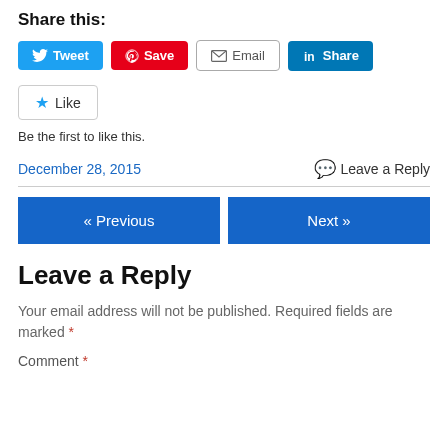Share this:
[Figure (screenshot): Social sharing buttons: Tweet (blue), Save (red/Pinterest), Email (outlined), Share (LinkedIn blue)]
[Figure (screenshot): Like button with star icon]
Be the first to like this.
December 28, 2015   💬 Leave a Reply
[Figure (screenshot): Navigation buttons: « Previous (blue) and Next » (blue)]
Leave a Reply
Your email address will not be published. Required fields are marked *
Comment *